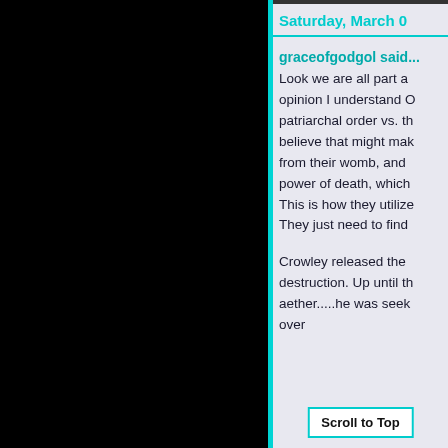Saturday, March 0
graceofgodgol said...
Look we are all part a... opinion I understand O... patriarchal order vs. th... believe that might mak... from their womb, and ... power of death, which ... This is how they utilize... They just need to find ...
Crowley released the ... destruction. Up until th... aether.....he was seek... over
Scroll to Top